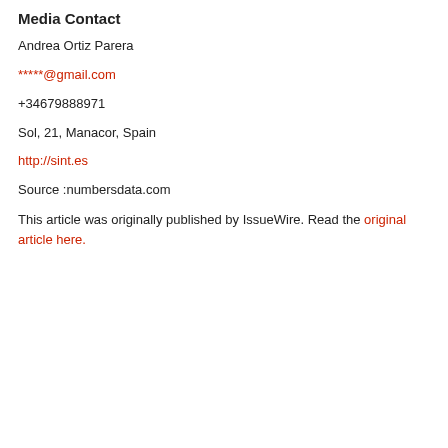Media Contact
Andrea Ortiz Parera
*****@gmail.com
+34679888971
Sol, 21, Manacor, Spain
http://sint.es
Source :numbersdata.com
This article was originally published by IssueWire. Read the original article here.